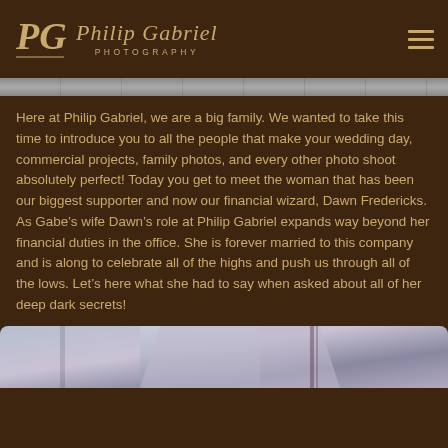Philip Gabriel Photography
Here at Philip Gabriel, we are a big family. We wanted to take this time to introduce you to all the people that make your wedding day, commercial projects, family photos, and every other photo shoot absolutely perfect! Today you get to meet the woman that has been our biggest supporter and now our financial wizard, Dawn Fredericks. As Gabe’s wife Dawn’s role at Philip Gabriel expands way beyond her financial duties in the office. She is forever married to this company and is along to celebrate all of the highs and push us through all of the lows. Let’s here what she had to say when asked about all of her deep dark secrets!
[Figure (photo): Bottom photo strip showing blurred abstract photography elements]